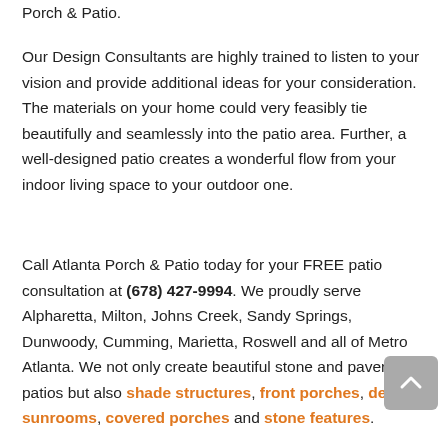Porch & Patio.
Our Design Consultants are highly trained to listen to your vision and provide additional ideas for your consideration. The materials on your home could very feasibly tie beautifully and seamlessly into the patio area. Further, a well-designed patio creates a wonderful flow from your indoor living space to your outdoor one.
Call Atlanta Porch & Patio today for your FREE patio consultation at (678) 427-9994. We proudly serve Alpharetta, Milton, Johns Creek, Sandy Springs, Dunwoody, Cumming, Marietta, Roswell and all of Metro Atlanta. We not only create beautiful stone and paver patios but also shade structures, front porches, decks, sunrooms, covered porches and stone features.